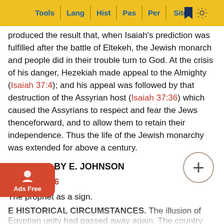Tools | Lang | Hist | Pas | Per | Site
produced the result that, when Isaiah's prediction was fulfilled after the battle of Eltekeh, the Jewish monarch and people did in their trouble turn to God. At the crisis of his danger, Hezekiah made appeal to the Almighty (Isaiah 37:4); and his appeal was followed by that destruction of the Assyrian host (Isaiah 37:36) which caused the Assyrians to respect and fear the Jews thenceforward, and to allow them to retain their independence. Thus the life of the Jewish monarchy was extended for above a century.
HOMILIES BY E. JOHNSON
Isaiah 20:1-6
The prophet as a sign.
E HISTORICAL CIRCUMSTANCES. The illusion of Egyptian unity had passed away again. The country was broke... whom Shaba... ions